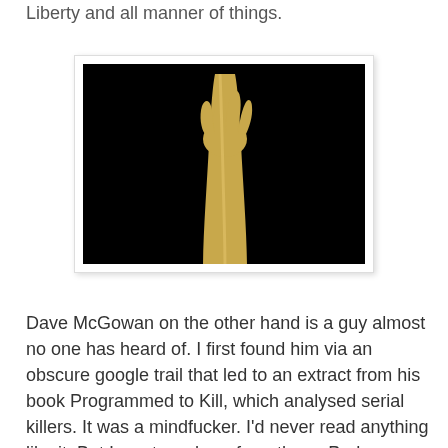Liberty and all manner of things.
[Figure (photo): A golden arm/hand reaching upward against a black background]
Dave McGowan on the other hand is a guy almost no one has heard of. I first found him via an obscure google trail that led to an extract from his book Programmed to Kill, which analysed serial killers. It was a mindfucker. I'd never read anything like it. But I went nowhere from there. Perhaps a year later I came across his website and hoovered up everything. And finally, (thanks to Penny), I came across the absolutely extraordinary 'Pedophocracy'. The Pedophocracy